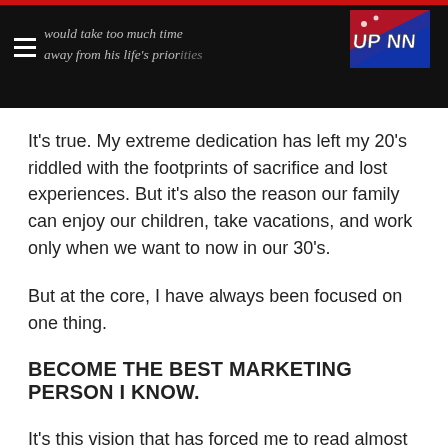would take too much time away from his life's priorities
It’s true. My extreme dedication has left my 20’s riddled with the footprints of sacrifice and lost experiences. But it’s also the reason our family can enjoy our children, take vacations, and work only when we want to now in our 30’s.
But at the core, I have always been focused on one thing.
BECOME THE BEST MARKETING PERSON I KNOW.
It’s this vision that has forced me to read almost 100 books on the topic, to dive deep into design theory, to get beyond talking and generate results, and to understanding what truly makes the human mind work. I think Steve Jobs said it best: